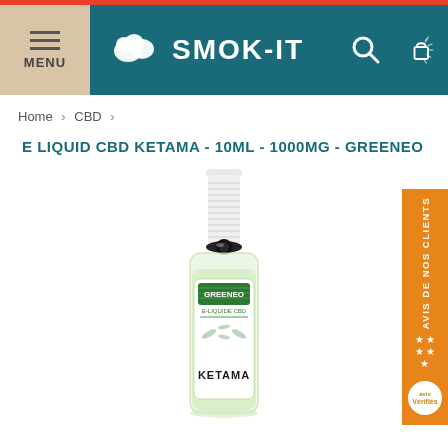[Figure (screenshot): SMOK-IT website header with menu burger icon, logo with cloud icon, search and cart icons on teal/dark cyan background]
Home > CBD >
E LIQUID CBD KETAMA - 10ML - 1000MG - GREENEO
[Figure (photo): E-liquid bottle with white dropper cap, transparent bottle showing green liquid, Greeneo brand label with KETAMA text and palm leaf design]